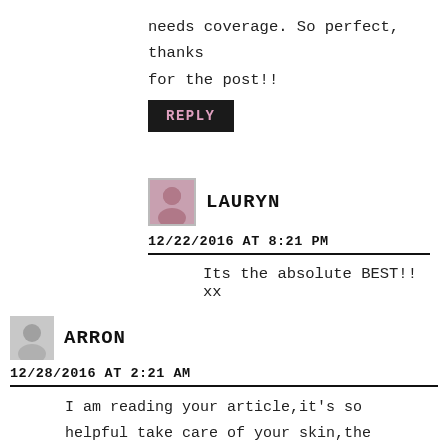needs coverage. So perfect, thanks for the post!!
REPLY
LAURYN
12/22/2016 AT 8:21 PM
Its the absolute BEST!! xx
ARRON
12/28/2016 AT 2:21 AM
I am reading your article,it’s so helpful take care of your skin,the product is very useful for healthy and glowing skin,it reduces the sun